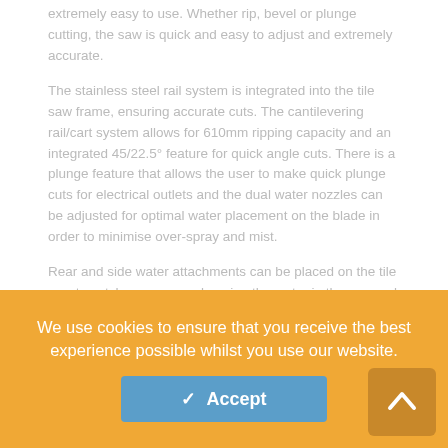extremely easy to use. Whether rip, bevel or plunge cutting, the saw is quick and easy to adjust and extremely accurate.
The stainless steel rail system is integrated into the tile saw frame, ensuring accurate cuts. The cantilevering rail/cart system allows for 610mm ripping capacity and an integrated 45/22.5° feature for quick angle cuts. There is a plunge feature that allows the user to make quick plunge cuts for electrical outlets and the dual water nozzles can be adjusted for optimal water placement on the blade in order to minimise over-spray and mist.
Rear and side water attachments can be placed on the tile saw to catch overspray – keeping the water in the pan and a removeable cutting cart for easy cleaning of the saw. The edge guide has two positions, 90 and 45°, allowing for easy line up of corner cuts.
We use cookies to ensure that you receive the best experience possible whilst you use our website.